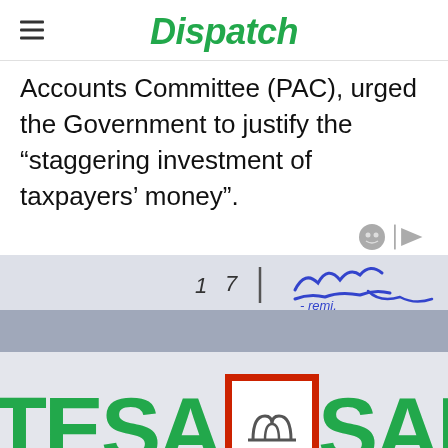Dispatch
Accounts Committee (PAC), urged the Government to justify the “staggering investment of taxpayers’ money”.
[Figure (photo): Photograph of an Intesa Sanpaolo bank branch sign. Green letters spelling 'TESA' visible on the left, the Intesa Sanpaolo logo (red-bordered box with arch symbol) in the center, and 'SANPAOLO' in green letters on the right. Handwritten scribbles visible in the upper portion of the image.]